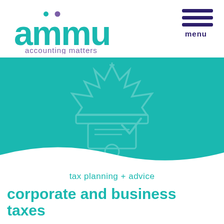[Figure (logo): ammu accounting matters logo in teal with two dots above letters]
[Figure (illustration): Hamburger menu icon with three dark purple horizontal bars and the word 'menu' beneath]
[Figure (illustration): Teal banner with a faint watermark of HMRC crown and tax document icon, with a white wave at the bottom]
tax planning + advice
corporate and business taxes
Astute and considered tax planning today can free up capital and get cash and additional funding into the business for investment